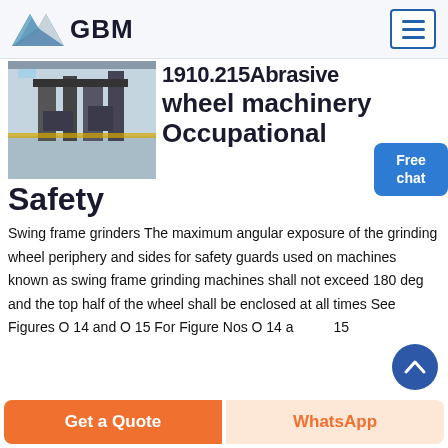GBM
[Figure (photo): Industrial machinery photo showing grinding/manufacturing equipment in a factory setting]
1910.215Abrasive wheel machinery Occupational Safety
Swing frame grinders The maximum angular exposure of the grinding wheel periphery and sides for safety guards used on machines known as swing frame grinding machines shall not exceed 180 deg and the top half of the wheel shall be enclosed at all times See Figures O 14 and O 15 For Figure Nos O 14 and O 15